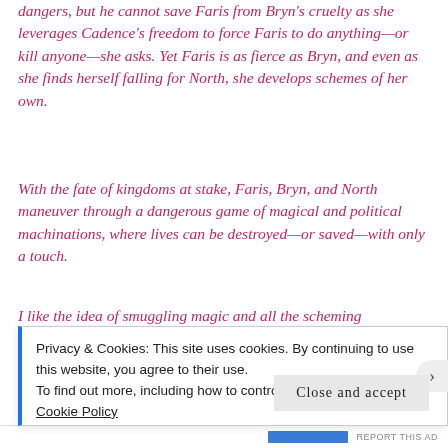dangers, but he cannot save Faris from Bryn's cruelty as she leverages Cadence's freedom to force Faris to do anything—or kill anyone—she asks. Yet Faris is as fierce as Bryn, and even as she finds herself falling for North, she develops schemes of her own.
With the fate of kingdoms at stake, Faris, Bryn, and North maneuver through a dangerous game of magical and political machinations, where lives can be destroyed—or saved—with only a touch.
I like the idea of smuggling magic and all the scheming
Privacy & Cookies: This site uses cookies. By continuing to use this website, you agree to their use. To find out more, including how to control cookies, see here: Cookie Policy
Close and accept